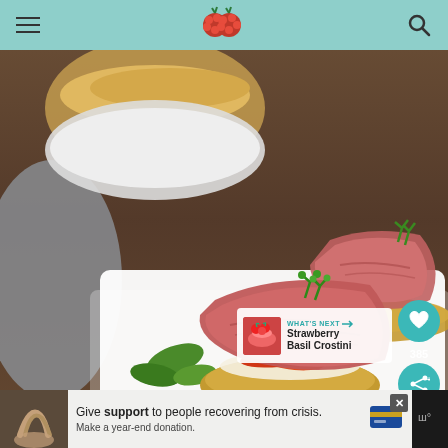Navigation bar with hamburger menu, logo (two raspberries), and search icon on teal background
[Figure (photo): Food photo showing beef crostini appetizers on a white rectangular plate: slices of rare beef, roasted red peppers, cream, and fresh basil/herbs, with a bowl of chips in background. Rustic wooden surface.]
385
WHAT'S NEXT → Strawberry Basil Crostini
That Skinny Chick Can Bake
Give support to people recovering from crisis. Make a year-end donation.